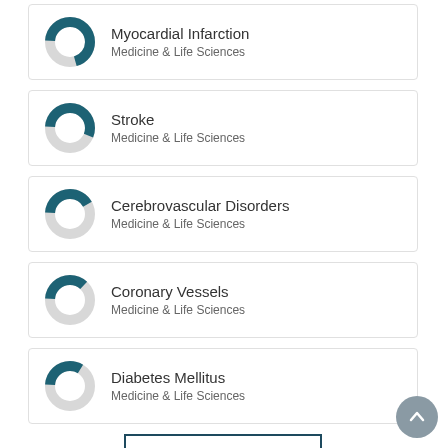[Figure (donut-chart): Donut chart showing proportion for Myocardial Infarction - Medicine & Life Sciences]
Myocardial Infarction
Medicine & Life Sciences
[Figure (donut-chart): Donut chart showing proportion for Stroke - Medicine & Life Sciences]
Stroke
Medicine & Life Sciences
[Figure (donut-chart): Donut chart showing proportion for Cerebrovascular Disorders - Medicine & Life Sciences]
Cerebrovascular Disorders
Medicine & Life Sciences
[Figure (donut-chart): Donut chart showing proportion for Coronary Vessels - Medicine & Life Sciences]
Coronary Vessels
Medicine & Life Sciences
[Figure (donut-chart): Donut chart showing proportion for Diabetes Mellitus - Medicine & Life Sciences]
Diabetes Mellitus
Medicine & Life Sciences
View full fingerprint ›